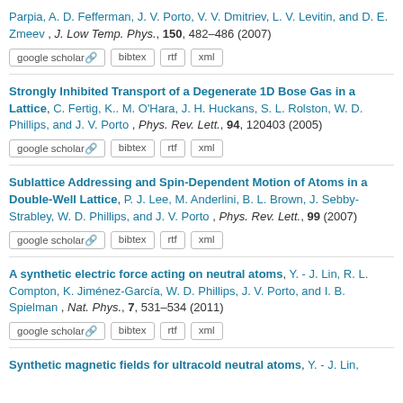Parpia, A. D. Fefferman, J. V. Porto, V. V. Dmitriev, L. V. Levitin, and D. E. Zmeev , J. Low Temp. Phys., 150, 482–486 (2007)
Strongly Inhibited Transport of a Degenerate 1D Bose Gas in a Lattice, C. Fertig, K.. M. O'Hara, J. H. Huckans, S. L. Rolston, W. D. Phillips, and J. V. Porto , Phys. Rev. Lett., 94, 120403 (2005)
Sublattice Addressing and Spin-Dependent Motion of Atoms in a Double-Well Lattice, P. J. Lee, M. Anderlini, B. L. Brown, J. Sebby-Strabley, W. D. Phillips, and J. V. Porto , Phys. Rev. Lett., 99 (2007)
A synthetic electric force acting on neutral atoms, Y. - J. Lin, R. L. Compton, K. Jiménez-García, W. D. Phillips, J. V. Porto, and I. B. Spielman , Nat. Phys., 7, 531–534 (2011)
Synthetic magnetic fields for ultracold neutral atoms, Y. - J. Lin,